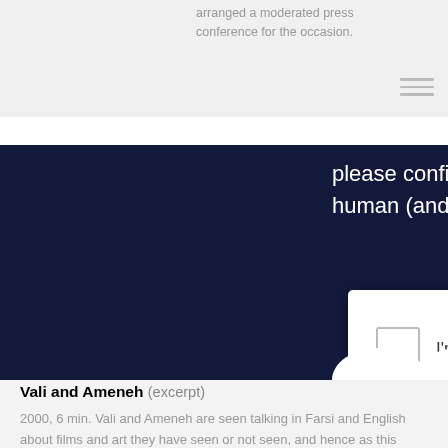arranged a moderated press conference for the occasion.
[Figure (screenshot): reCAPTCHA verification overlay on a dark blue background with text 'please confirm that youâ€™re human (and not a spamb...' and a checkbox labeled 'I'm not a robot']
Vali and Ameneh (excerpt)
2000, 6 min. Vali and Ameneh are seen talking in Farsi and English about films and art they have seen or not seen, and hence as this narrative works with descriptions, the camera is just as cautiously feeling out the space and its